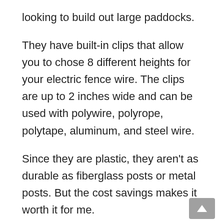looking to build out large paddocks.
They have built-in clips that allow you to chose 8 different heights for your electric fence wire. The clips are up to 2 inches wide and can be used with polywire, polyrope, polytape, aluminum, and steel wire.
Since they are plastic, they aren't as durable as fiberglass posts or metal posts. But the cost savings makes it worth it for me.
Because of these benefits, the Fi-Shock step-in posts are our pick for overall best electric fence post.